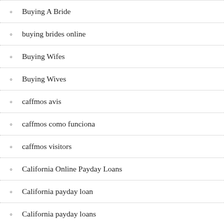Buying A Bride
buying brides online
Buying Wifes
Buying Wives
caffmos avis
caffmos como funciona
caffmos visitors
California Online Payday Loans
California payday loan
California payday loans
california payday loans online
call cashnetusa